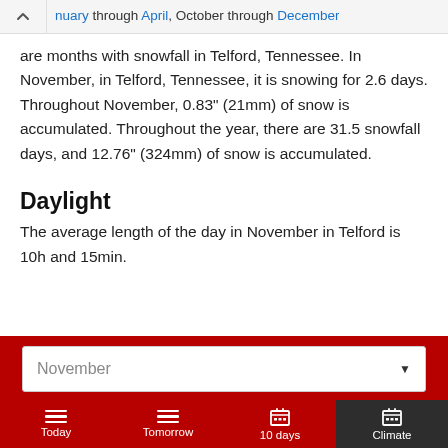nuary through April, October through December are months with snowfall in Telford, Tennessee. In November, in Telford, Tennessee, it is snowing for 2.6 days. Throughout November, 0.83" (21mm) of snow is accumulated. Throughout the year, there are 31.5 snowfall days, and 12.76" (324mm) of snow is accumulated.
Daylight
The average length of the day in November in Telford is 10h and 15min.